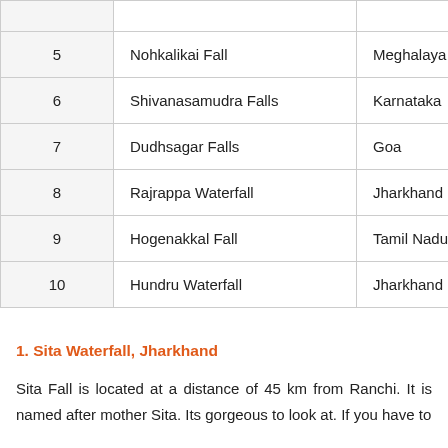| 5 | Nohkalikai Fall | Meghalaya |
| 6 | Shivanasamudra Falls | Karnataka |
| 7 | Dudhsagar Falls | Goa |
| 8 | Rajrappa Waterfall | Jharkhand |
| 9 | Hogenakkal Fall | Tamil Nadu |
| 10 | Hundru Waterfall | Jharkhand |
1. Sita Waterfall, Jharkhand
Sita Fall is located at a distance of 45 km from Ranchi. It is named after mother Sita. Its gorgeous to look at. If you have to